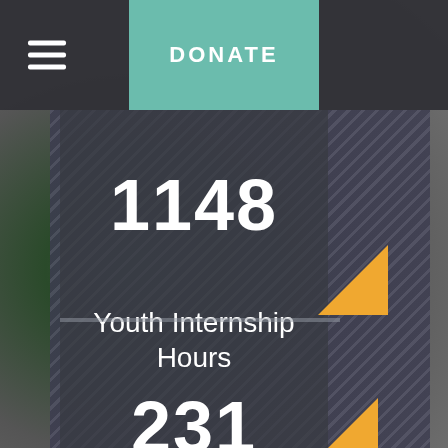DONATE
1148
Youth Internship Hours
231